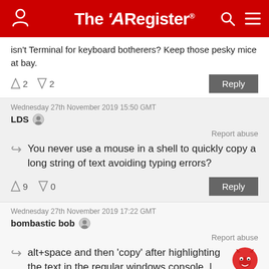The Register
isn't Terminal for keyboard botherers? Keep those pesky mice at bay.
↑2  ↓2   Reply
Wednesday 27th November 2019 15:50 GMT
LDS
Report abuse
You never use a mouse in a shell to quickly copy a long string of text avoiding typing errors?
↑9  ↓0   Reply
Wednesday 27th November 2019 17:22 GMT
bombastic bob
Report abuse
alt+space and then 'copy' after highlighting the text in the regular windows console. |